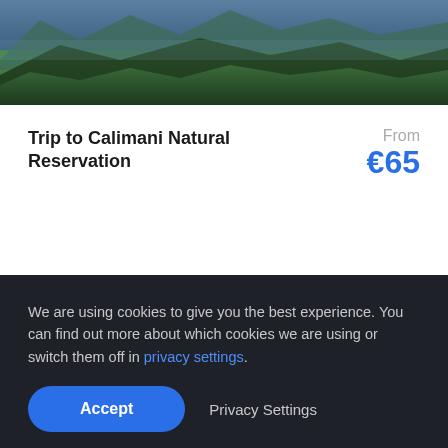[Figure (photo): Aerial or landscape photo of green forested mountains with dark tones]
Trip to Calimani Natural Reservation
From €65
We are using cookies to give you the best experience. You can find out more about which cookies we are using or switch them off in privacy settings.
Accept
Privacy Settings